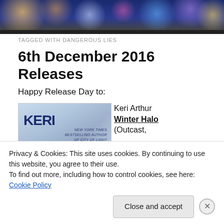[Figure (photo): Header banner with bokeh city lights background in blue, purple, orange tones with a black bar at the bottom]
TAGGED WITH DANGEROUS LIES
6th December 2016 Releases
Happy Release Day to:
[Figure (photo): Book cover image for Keri Arthur's book, showing 'KERI' in large dark letters with subtitle 'NEW YORK TIMES BESTSELLING AUTHOR OF CITY OF LIGHT']
Keri Arthur
Winter Halo
(Outcast,
Privacy & Cookies: This site uses cookies. By continuing to use this website, you agree to their use.
To find out more, including how to control cookies, see here: Cookie Policy
Close and accept
Advertisements